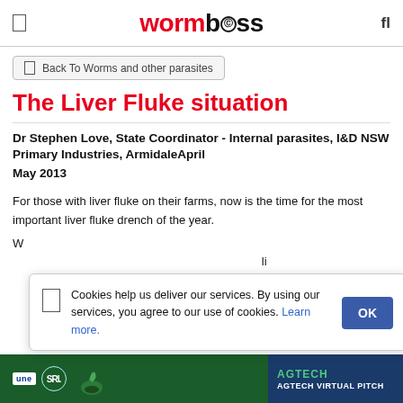wormboss
Back To Worms and other parasites
The Liver Fluke situation
Dr Stephen Love, State Coordinator - Internal parasites, I&D NSW Primary Industries, ArmidaleApril
May 2013
For those with liver fluke on their farms, now is the time for the most important liver fluke drench of the year.
W... li... a... li...
Cookies help us deliver our services. By using our services, you agree to our use of cookies. Learn more.
[Figure (screenshot): Advertisement banner for UNE SRI AGTECH VIRTUAL PITCH at bottom of page]